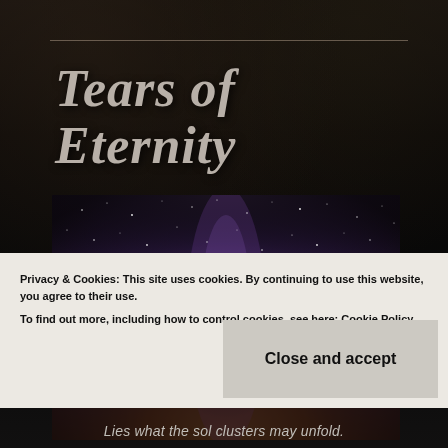Tears of Eternity
[Figure (photo): Milky Way galaxy / night sky photo showing purple and orange hues with dense star field]
Privacy & Cookies: This site uses cookies. By continuing to use this website, you agree to their use.
To find out more, including how to control cookies, see here: Cookie Policy
Close and accept
Lies what the sol clusters may unfold.